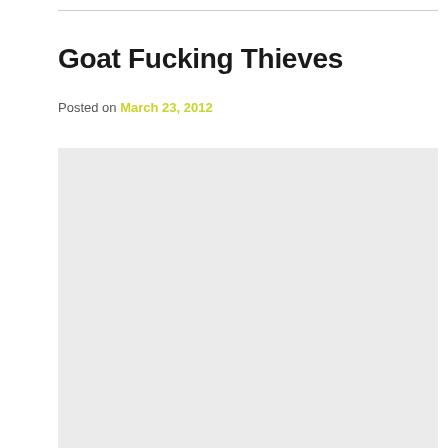Goat Fucking Thieves
Posted on March 23, 2012
[Figure (photo): Large light gray rectangular placeholder image area]